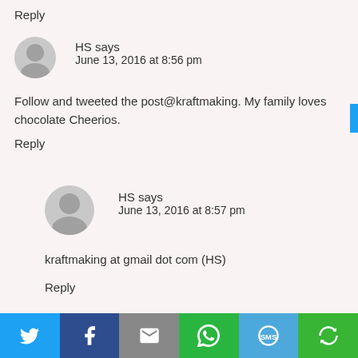Reply
HS says
June 13, 2016 at 8:56 pm
Follow and tweeted the post@kraftmaking. My family loves chocolate Cheerios.
Reply
HS says
June 13, 2016 at 8:57 pm
kraftmaking at gmail dot com (HS)
Reply